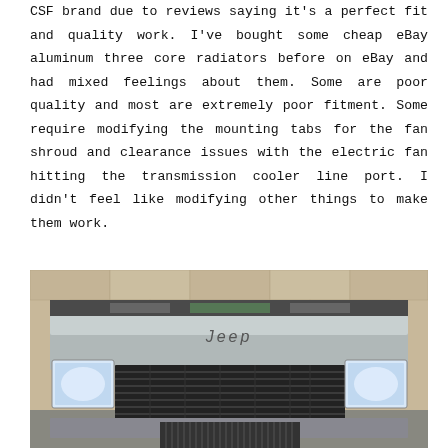CSF brand due to reviews saying it's a perfect fit and quality work. I've bought some cheap eBay aluminum three core radiators before on eBay and had mixed feelings about them. Some are poor quality and most are extremely poor fitment. Some require modifying the mounting tabs for the fan shroud and clearance issues with the electric fan hitting the transmission cooler line port. I didn't feel like modifying other things to make them work.
[Figure (photo): Front view of a Jeep vehicle (Cherokee) with hood open, showing the radiator and engine bay. The Jeep grille and headlights are visible, along with what appears to be a new radiator installed. Garage or shop background with tan/brick wall.]